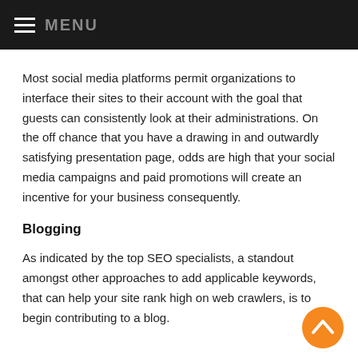MENU
Most social media platforms permit organizations to interface their sites to their account with the goal that guests can consistently look at their administrations. On the off chance that you have a drawing in and outwardly satisfying presentation page, odds are high that your social media campaigns and paid promotions will create an incentive for your business consequently.
Blogging
As indicated by the top SEO specialists, a standout amongst other approaches to add applicable keywords, that can help your site rank high on web crawlers, is to begin contributing to a blog.